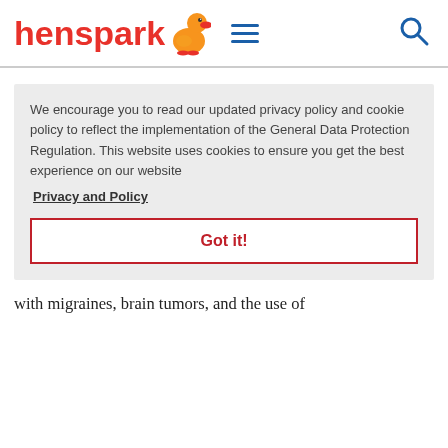henspark [logo with duck icon, hamburger menu, search icon]
We encourage you to read our updated privacy policy and cookie policy to reflect the implementation of the General Data Protection Regulation. This website uses cookies to ensure you get the best experience on our website
Privacy and Policy
Got it!
with migraines, brain tumors, and the use of